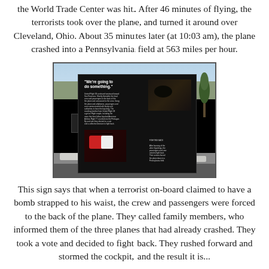the World Trade Center was hit. After 46 minutes of flying, the terrorists took over the plane, and turned it around over Cleveland, Ohio. About 35 minutes later (at 10:03 am), the plane crashed into a Pennsylvania field at 563 miles per hour.
[Figure (photo): Outdoor interpretive sign at the Flight 93 memorial site. The black sign panel reads 'We're going to do something.' with body text and two photographs — one of a dark animal/debris and one of a red and white object. The sign is mounted on a stand in a snowy landscape with a pale winter sky.]
This sign says that when a terrorist on-board claimed to have a bomb strapped to his waist, the crew and passengers were forced to the back of the plane. They called family members, who informed them of the three planes that had already crashed. They took a vote and decided to fight back. They rushed forward and stormed the cockpit, and the result it is...